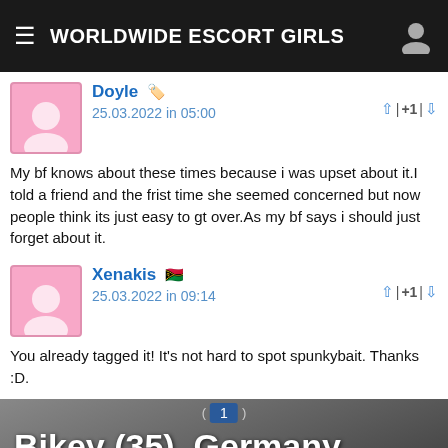WORLDWIDE ESCORT GIRLS
Doyle 25.03.2022 in 05:00
My bf knows about these times because i was upset about it.I told a friend and the frist time she seemed concerned but now people think its just easy to gt over.As my bf says i should just forget about it.
Xenakis 25.03.2022 in 09:14
You already tagged it! It's not hard to spot spunkybait. Thanks :D.
Bikey (35), Germany, escort sexgirl
Tell that you are calling from the-paraclete.com to increase your chances of getting a discount.